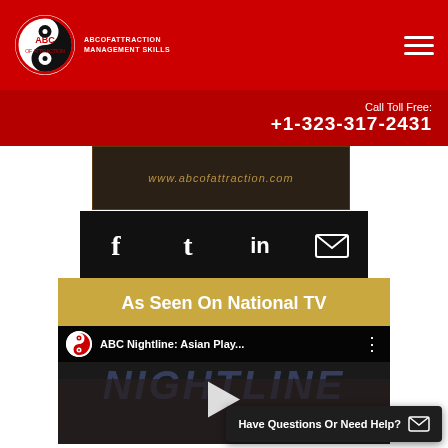[Figure (logo): ABC of Attraction logo with yin-yang circular emblem and company name text in red header bar]
Call Toll Free:
+1-323-317-2431
[Figure (screenshot): Video thumbnail showing www.abcofattraction.com website banner]
[Figure (infographic): Social media sharing icons: Facebook, Twitter, LinkedIn, Email on black square backgrounds]
As Seen On National TV
[Figure (screenshot): ABC Nightline: Asian Play... video thumbnail with play button overlay showing two people]
Have Questions Or Need Help?